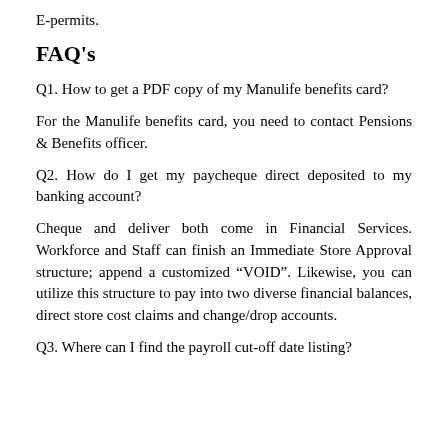E-permits.
FAQ's
Q1. How to get a PDF copy of my Manulife benefits card?
For the Manulife benefits card, you need to contact Pensions & Benefits officer.
Q2. How do I get my paycheque direct deposited to my banking account?
Cheque and deliver both come in Financial Services. Workforce and Staff can finish an Immediate Store Approval structure; append a customized “VOID”. Likewise, you can utilize this structure to pay into two diverse financial balances, direct store cost claims and change/drop accounts.
Q3. Where can I find the payroll cut-off date listing?